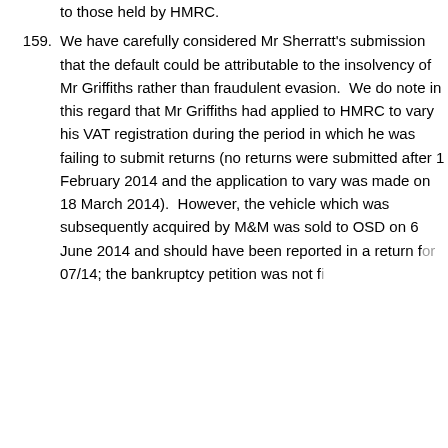to those held by HMRC.
159. We have carefully considered Mr Sherratt's submission that the default could be attributable to the insolvency of Mr Griffiths rather than fraudulent evasion.  We do note in this regard that Mr Griffiths had applied to HMRC to vary his VAT registration during the period in which he was failing to submit returns (no returns were submitted after 1 February 2014 and the application to vary was made on 18 March 2014).  However, the vehicle which was subsequently acquired by M&M was sold to OSD on 6 June 2014 and should have been reported in a return for 07/14; the bankruptcy petition was not fi...